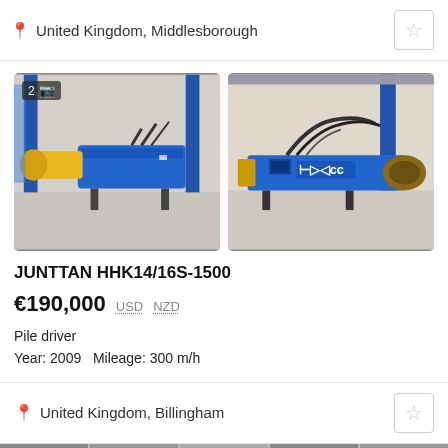United Kingdom, Middlesborough
[Figure (photo): Two photos of a blue and yellow Junttan HHK14/16S-1500 pile driver machine inside a warehouse/industrial building. Left photo shows a side angle of the machine with yellow arm; right photo shows another angle with blue body and branded markings.]
JUNTTAN HHK14/16S-1500
€190,000  USD  NZD
Pile driver
Year: 2009   Mileage: 300 m/h
United Kingdom, Billingham